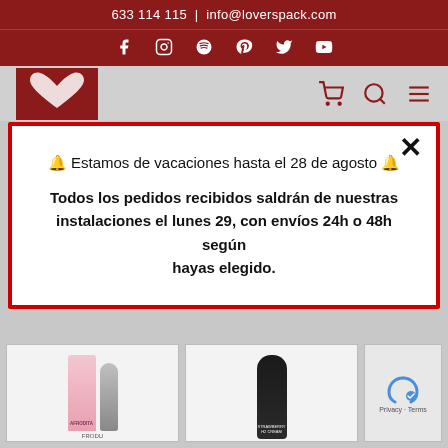633 114 115 | info@loverspack.com
[Figure (screenshot): Social media icons bar: Facebook, Instagram, Spotify, Pinterest, Twitter, YouTube on dark red background]
[Figure (screenshot): Navigation bar with Loverspack heart logo on red square, and cart, search, menu icons in dark red on grey background]
🔔 Estamos de vacaciones hasta el 28 de agosto 🔔

Todos los pedidos recibidos saldrán de nuestras instalaciones el lunes 29, con envíos 24h o 48h según hayas elegido.
[Figure (photo): Two product images partially visible at bottom: left shows Afrodita/Frodi product in pink and silver packaging, right shows Strawberry H2 Cream in dark bottle. A CAPTCHA widget is visible bottom right.]